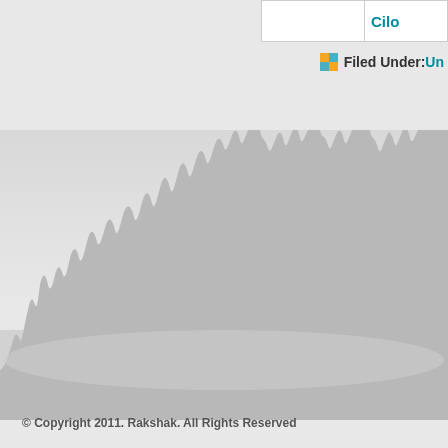|  | Cilo |
| --- | --- |
|  |  |
Filed Under: Un
[Figure (illustration): Silhouette of a crowd with raised hands and arms against a light grey background, creating a crowd scene graphic.]
© Copyright 2011. Rakshak. All Rights Reserved